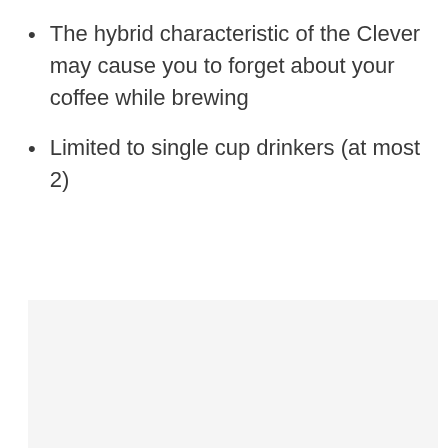The hybrid characteristic of the Clever may cause you to forget about your coffee while brewing
Limited to single cup drinkers (at most 2)
[Figure (photo): Large light gray rectangular image area, content not visible]